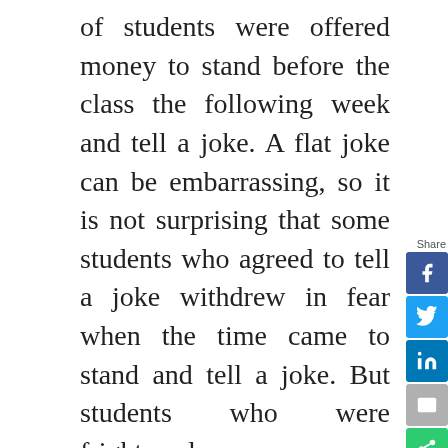of students were offered money to stand before the class the following week and tell a joke. A flat joke can be embarrassing, so it is not surprising that some students who agreed to tell a joke withdrew in fear when the time came to stand and tell a joke. But students who were frightened were more likely to withdraw than students who were not. Half the students in the experiment were shown a fear-inducing film clip from The Shining, Stanley Kubrick's classic horror film, before deciding whether to tell a joke or withdraw. It turned out that